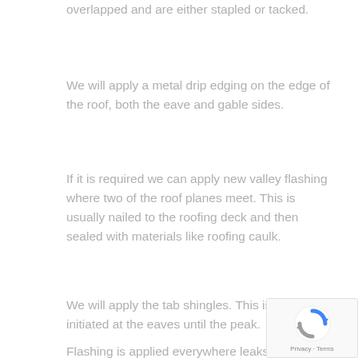overlapped and are either stapled or tacked.
We will apply a metal drip edging on the edge of the roof, both the eave and gable sides.
If it is required we can apply new valley flashing where two of the roof planes meet. This is usually nailed to the roofing deck and then sealed with materials like roofing caulk.
We will apply the tab shingles. This is initiated at the eaves until the peak.
Flashing is applied everywhere leaks might occur.
[Figure (logo): reCAPTCHA logo with Privacy and Terms text]